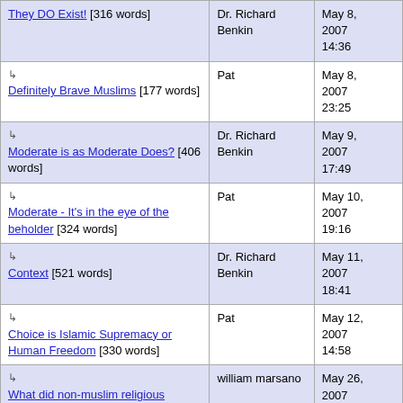| Title | Author | Date |
| --- | --- | --- |
| They DO Exist! [316 words] | Dr. Richard Benkin | May 8, 2007 14:36 |
| ↳ Definitely Brave Muslims [177 words] | Pat | May 8, 2007 23:25 |
| ↳ Moderate is as Moderate Does? [406 words] | Dr. Richard Benkin | May 9, 2007 17:49 |
| ↳ Moderate - It's in the eye of the beholder [324 words] | Pat | May 10, 2007 19:16 |
| ↳ Context [521 words] | Dr. Richard Benkin | May 11, 2007 18:41 |
| ↳ Choice is Islamic Supremacy or Human Freedom [330 words] | Pat | May 12, 2007 14:58 |
| ↳ What did non-muslim religious leaders say about the Salman Rushdie fatwa? [107 words] w/response from Daniel Pipes | william marsano | May 26, 2007 16:53 |
| ↳ ... | Kat | Jun 11 |